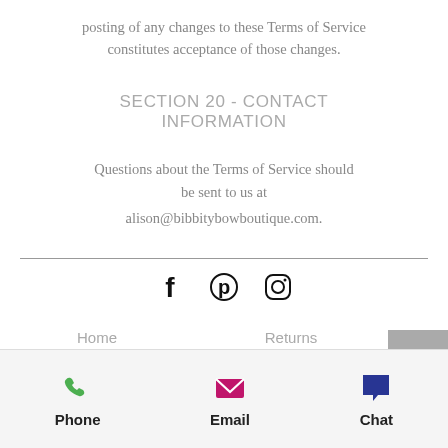posting of any changes to these Terms of Service constitutes acceptance of those changes.
SECTION 20 - CONTACT INFORMATION
Questions about the Terms of Service should be sent to us at alison@bibbitybowboutique.com.
[Figure (other): Social media icons: Facebook, Pinterest, Instagram]
Home | Shop Sale | Our Story | Contact | Returns | Payment Methods | Delivery | Privacy & Terms
Phone | Email | Chat